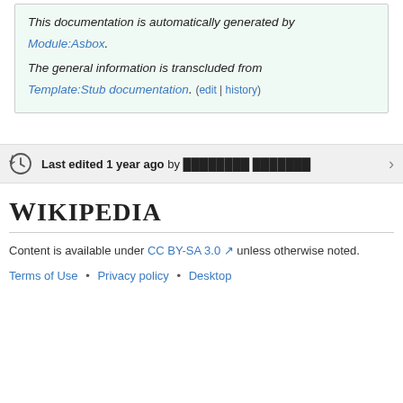This documentation is automatically generated by Module:Asbox. The general information is transcluded from Template:Stub documentation. (edit | history)
Last edited 1 year ago by ████████ ███████
Wikipedia
Content is available under CC BY-SA 3.0 unless otherwise noted.
Terms of Use • Privacy policy • Desktop